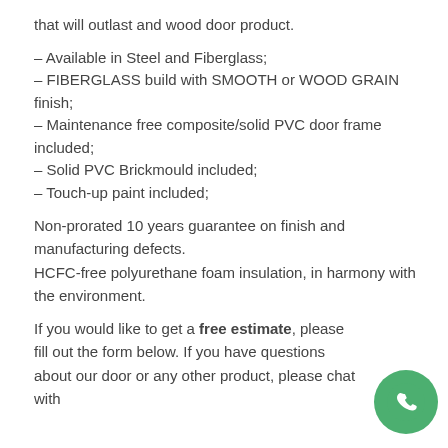that will outlast and wood door product.
– Available in Steel and Fiberglass;
– FIBERGLASS build with SMOOTH or WOOD GRAIN finish;
– Maintenance free composite/solid PVC door frame included;
– Solid PVC Brickmould included;
– Touch-up paint included;
Non-prorated 10 years guarantee on finish and manufacturing defects.
HCFC-free polyurethane foam insulation, in harmony with the environment.
If you would like to get a free estimate, please fill out the form below. If you have questions about our door or any other product, please chat with